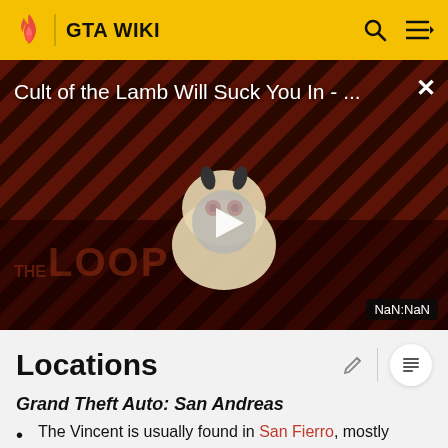GTA WIKI
[Figure (screenshot): Video thumbnail for 'Cult of the Lamb Will Suck You In - ...' with The Loop watermark, a cartoon animal character with red eyes, a play button in the center, and NaN:NaN time display. Background is dark red diagonal stripe pattern.]
Locations
Grand Theft Auto: San Andreas
The Vincent is usually found in San Fierro, mostly